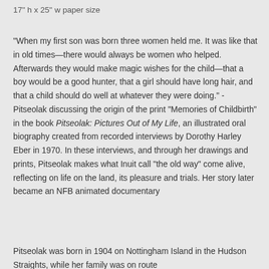17" h x 25" w paper size
“When my first son was born three women held me. It was like that in old times—there would always be women who helped. Afterwards they would make magic wishes for the child—that a boy would be a good hunter, that a girl should have long hair, and that a child should do well at whatever they were doing.” - Pitseolak discussing the origin of the print "Memories of Childbirth" in the book Pitseolak: Pictures Out of My Life, an illustrated oral biography created from recorded interviews by Dorothy Harley Eber in 1970. In these interviews, and through her drawings and prints, Pitseolak makes what Inuit call "the old way" come alive, reflecting on life on the land, its pleasure and trials. Her story later became an NFB animated documentary
Pitseolak was born in 1904 on Nottingham Island in the Hudson Straights, while her family was on route